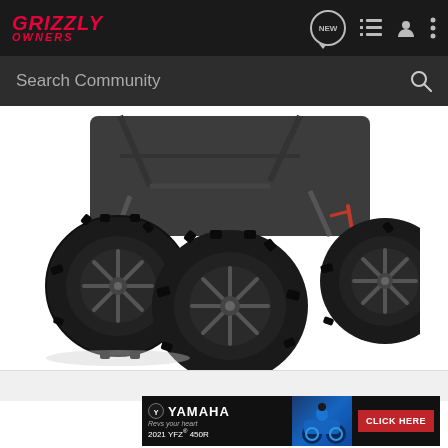Grizzly Owners — navigation bar with logo, NEW, list, user, more icons
Search Community
[Figure (photo): Close-up of a Yamaha Grizzly ATV showing four large black mud tires with grey alloy wheels on a white background. A red strap is visible on the right side.]
[Figure (infographic): Yamaha advertisement banner showing a rider on a blue 2021 YFZ 450R ATV. Text reads: YAMAHA, Revs your Heart, 2021 YFZ 450R, CLICK HERE button in red.]